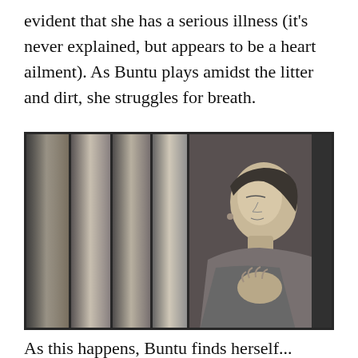evident that she has a serious illness (it's never explained, but appears to be a heart ailment). As Buntu plays amidst the litter and dirt, she struggles for breath.
[Figure (photo): Black and white film still showing a woman leaning against wooden planks or logs, eyes closed, hand pressed to her chest, appearing to struggle for breath. She wears a floral/patterned blouse.]
As this happens, Buntu finds herself...